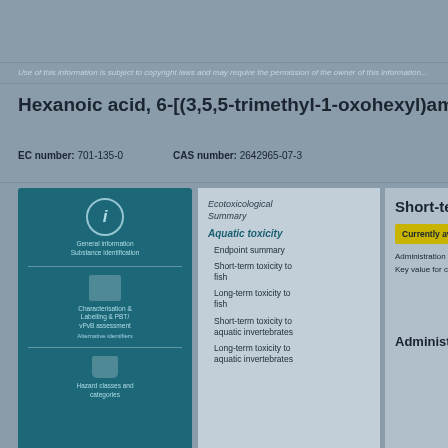Use of this information is subject to copyright laws and may require the permission...
Hexanoic acid, 6-[(3,5,5-trimethyl-1-oxohexyl)am...
EC number: 701-135-0    CAS number: 2642965-07-3
[Figure (infographic): Blue teal information panel with icons: info circle icon with text, structure/characterisation & labelling and IUPAC alternative identifiers section, and hazard/data section with beaker icon]
Ecotoxicological Summary
Aquatic toxicity
Endpoint summary
Short-term toxicity to fish
Long-term toxicity to fish
Short-term toxicity to aquatic invertebrates
Long-term toxicity to aquatic invertebrates
Short-term...
Currently avail...
Administration d...
Key value for ch...
Administrati...